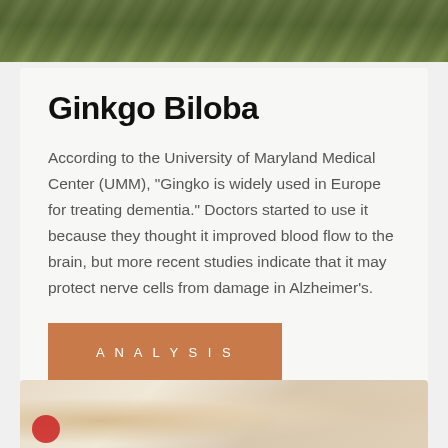[Figure (photo): Top portion of a photo showing green leaves/foliage (Ginkgo Biloba plant)]
Ginkgo Biloba
According to the University of Maryland Medical Center (UMM), “Gingko is widely used in Europe for treating dementia.” Doctors started to use it because they thought it improved blood flow to the brain, but more recent studies indicate that it may protect nerve cells from damage in Alzheimer’s.
ANALYSIS
[Figure (photo): Bottom portion showing food items including granola, nuts in bowls, and what appears to be dairy or grain products]